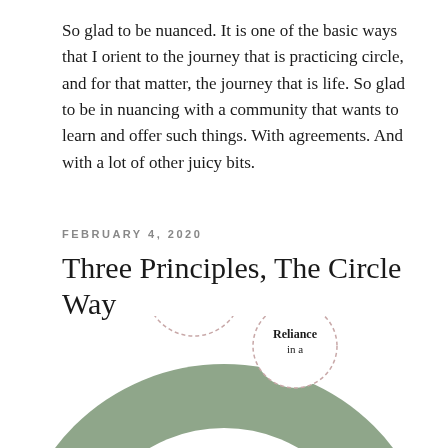So glad to be nuanced. It is one of the basic ways that I orient to the journey that is practicing circle, and for that matter, the journey that is life. So glad to be in nuancing with a community that wants to learn and offer such things. With agreements. And with a lot of other juicy bits.
FEBRUARY 4, 2020
Three Principles, The Circle Way
[Figure (illustration): A circular diagram (donut/horseshoe shape) in sage green showing three principles of The Circle Way. Visible elements include a dashed circle labeled 'Leadership Rotates' and a partial dashed circle labeled 'Reliance' (cut off at bottom). The large outer ring is sage green and the inner area is white.]